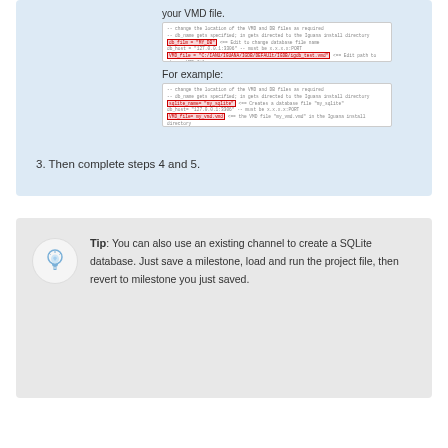your VMD file.
[Figure (screenshot): Code snippet showing VMD configuration with highlighted lines for database name and VMD file path]
For example:
[Figure (screenshot): Code snippet example showing SQLite database creation with highlighted lines]
3. Then complete steps 4 and 5.
Tip: You can also use an existing channel to create a SQLite database. Just save a milestone, load and run the project file, then revert to milestone you just saved.